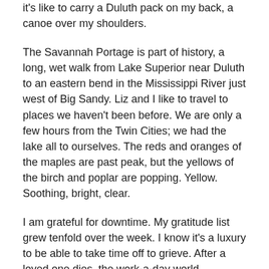it's like to carry a Duluth pack on my back, a canoe over my shoulders.
The Savannah Portage is part of history, a long, wet walk from Lake Superior near Duluth to an eastern bend in the Mississippi River just west of Big Sandy. Liz and I like to travel to places we haven't been before. We are only a few hours from the Twin Cities; we had the lake all to ourselves. The reds and oranges of the maples are past peak, but the yellows of the birch and poplar are popping. Yellow. Soothing, bright, clear.
I am grateful for downtime. My gratitude list grew tenfold over the week. I know it's a luxury to be able to take time off to grieve. After a loved one dies, the work-a-day world continues to churn. Mother Nature has given us solace. A place to sit on a glacial lake facing West, the direction of